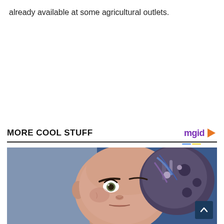already available at some agricultural outlets.
MORE COOL STUFF
[Figure (photo): Close-up photo of a humanoid robot face (Sophia the robot) with realistic skin, visible mechanical components on the back of the head, against a blue background.]